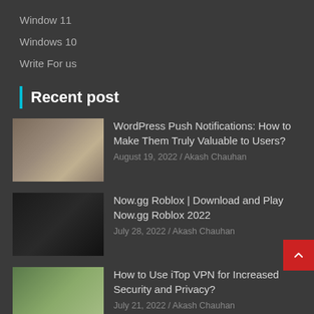Window 11
Windows 10
Write For us
Recent post
WordPress Push Notifications: How to Make Them Truly Valuable to Users?
August 19, 2022 / Akash Chauhan
Now.gg Roblox | Download and Play Now.gg Roblox 2022
July 28, 2022 / Akash Chauhan
How to Use iTop VPN for Increased Security and Privacy?
July 21, 2022 / Akash Chauhan
A Deep Look into Base Deployment in